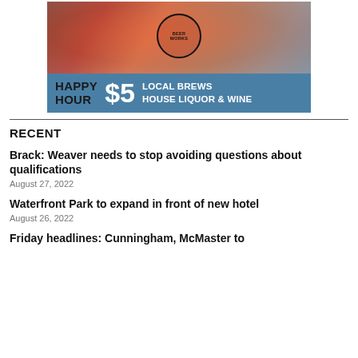[Figure (photo): Advertisement for Beer Works showing a hand holding a pink/red beer glass with the Beer Works logo, and a blue banner reading HAPPY HOUR $5 LOCAL BREWS HOUSE LIQUOR & WINE]
RECENT
Brack: Weaver needs to stop avoiding questions about qualifications
August 27, 2022
Waterfront Park to expand in front of new hotel
August 26, 2022
Friday headlines: Cunningham, McMaster to